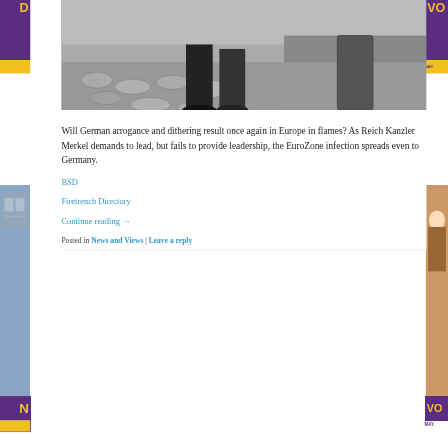[Figure (photo): Black and white photograph showing lower body/feet of a person standing on cobblestones]
Will German arrogance and dithering result once again in Europe in flames? As Reich Kanzler Merkel demands to lead, but fails to provide leadership, the EuroZone infection spreads even to Germany.
BSD
Firetrench Directory
Continue reading →
Posted in News and Views | Leave a reply